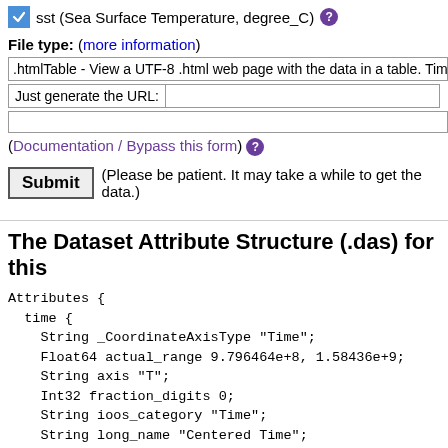☑ sst (Sea Surface Temperature, degree_C) ?
File type: (more information)
.htmlTable - View a UTF-8 .html web page with the data in a table. Times a
Just generate the URL:
(Documentation / Bypass this form) ?
Submit (Please be patient. It may take a while to get the data.)
The Dataset Attribute Structure (.das) for this
Attributes {
  time {
    String _CoordinateAxisType "Time";
    Float64 actual_range 9.796464e+8, 1.58436e+9;
    String axis "T";
    Int32 fraction_digits 0;
    String ioos_category "Time";
    String long_name "Centered Time";
    String standard_name "time";
    String time_origin "01-JAN-1970 00:00:00"